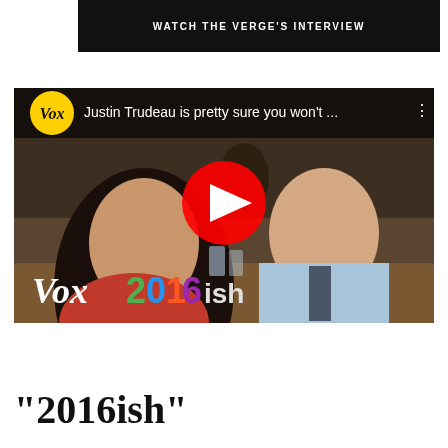WATCH THE VERGE'S INTERVIEW
[Figure (screenshot): YouTube video thumbnail for Vox video titled 'Justin Trudeau is pretty sure you won't...' featuring two people sitting at a restaurant table with the red YouTube play button overlay, and 'Vox 2016ish' branding at the bottom]
"2016ish"